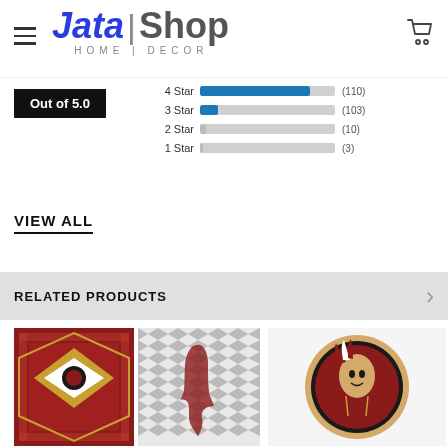Jata Shop Home Decor
[Figure (bar-chart): Star Ratings Out of 5.0]
Out of 5.0
VIEW ALL
RELATED PRODUCTS
[Figure (photo): Florida State Seminoles rug with tribal aztec pattern in red and white]
[Figure (photo): Florida state outline on chevron grey and white pattern]
[Figure (photo): Florida State Seminoles round logo/seal]